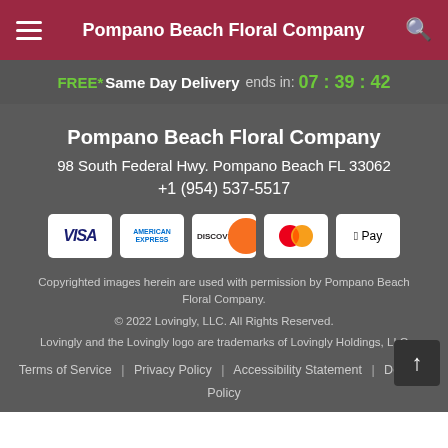Pompano Beach Floral Company
FREE* Same Day Delivery ends in: 07 : 39 : 42
Pompano Beach Floral Company
98 South Federal Hwy. Pompano Beach FL 33062
+1 (954) 537-5517
[Figure (logo): Payment method logos: Visa, American Express, Discover, Mastercard, Apple Pay]
Copyrighted images herein are used with permission by Pompano Beach Floral Company.
© 2022 Lovingly, LLC. All Rights Reserved.
Lovingly and the Lovingly logo are trademarks of Lovingly Holdings, LLC
Terms of Service | Privacy Policy | Accessibility Statement | Delivery Policy